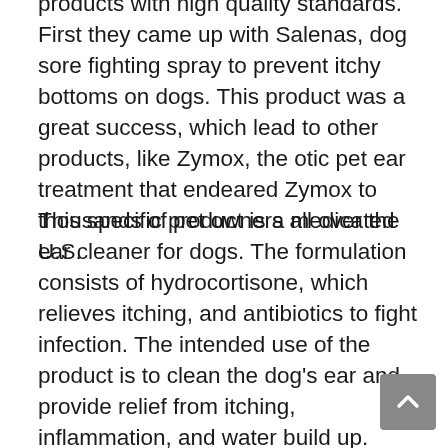products with high quality standards. First they came up with Salenas, dog sore fighting spray to prevent itchy bottoms on dogs. This product was a great success, which lead to other products, like Zymox, the otic pet ear treatment that endeared Zymox to thousands of pet owners all over the U.S.
This specific product is a medicated ear cleaner for dogs. The formulation consists of hydrocortisone, which relieves itching, and antibiotics to fight infection. The intended use of the product is to clean the dog's ear and provide relief from itching, inflammation, and water build up. Hydrocortisone and sodium chloride, the main ingredients in the formula, act fast on those problems. By killing and preventing bacteria growth, the product keeps the ear clean at...